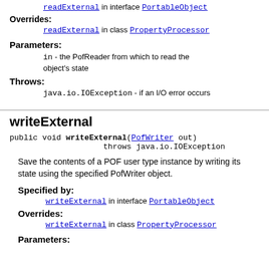readExternal in interface PortableObject
Overrides: readExternal in class PropertyProcessor
Parameters:
in - the PofReader from which to read the object's state
Throws:
java.io.IOException - if an I/O error occurs
writeExternal
public void writeExternal(PofWriter out) throws java.io.IOException
Save the contents of a POF user type instance by writing its state using the specified PofWriter object.
Specified by:
writeExternal in interface PortableObject
Overrides:
writeExternal in class PropertyProcessor
Parameters: